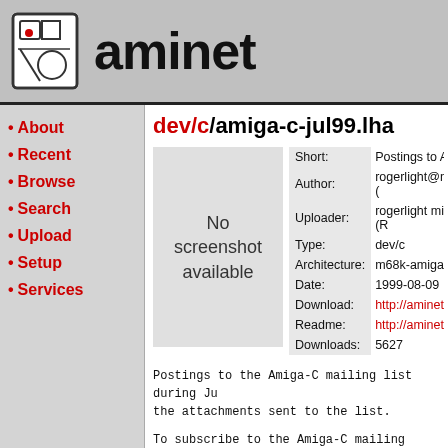[Figure (logo): Aminet logo with geometric shapes and a red circle, next to the text 'aminet']
dev/c/amiga-c-jul99.lha
About
Recent
Browse
Search
Upload
Setup
Services
[Figure (other): No screenshot available placeholder]
| Short: | Postings to Amiga-C maili... |
| Author: | rogerlight@mindless.com (… |
| Uploader: | rogerlight mindless com (R… |
| Type: | dev/c |
| Architecture: | m68k-amigaos |
| Date: | 1999-08-09 |
| Download: | http://aminet.net/dev/c/ami... |
| Readme: | http://aminet.net/dev/c/ami... |
| Downloads: | 5627 |
Postings to the Amiga-C mailing list during Ju... the attachments sent to the list.
To subscribe to the Amiga-C mailing list, sea...